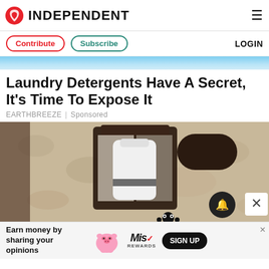INDEPENDENT
Contribute | Subscribe | LOGIN
Laundry Detergents Have A Secret, It’s Time To Expose It
EARTHBREEZE | Sponsored
[Figure (photo): A wall-mounted black lantern-style light fixture with a white bottle placed inside it, mounted on a textured stucco wall.]
Earn money by sharing your opinions